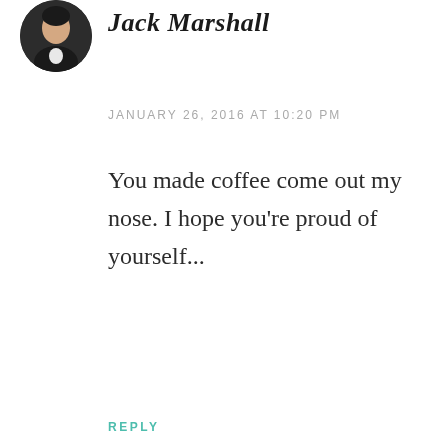[Figure (photo): Circular profile photo of a person in dark clothing, partially cropped at top]
Jack Marshall (partially cropped italic name)
JANUARY 26, 2016 AT 10:20 PM
You made coffee come out my nose. I hope you're proud of yourself...
REPLY
[Figure (illustration): Red geometric quilt/snowflake pattern avatar for user valkygrrl]
valkygrrl